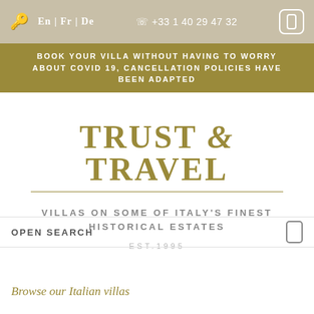En | Fr | De   +33 1 40 29 47 32
BOOK YOUR VILLA WITHOUT HAVING TO WORRY ABOUT COVID 19, CANCELLATION POLICIES HAVE BEEN ADAPTED
TRUST & TRAVEL
VILLAS ON SOME OF ITALY'S FINEST HISTORICAL ESTATES
EST.1995
OPEN SEARCH
Browse our Italian villas